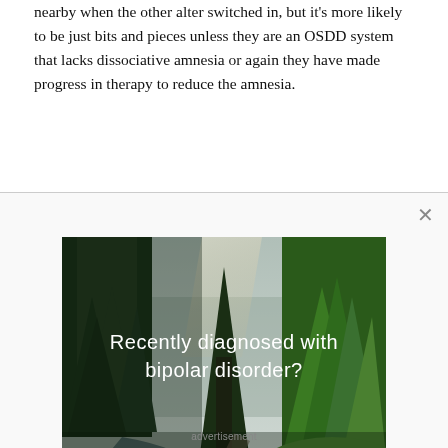nearby when the other alter switched in, but it's more likely to be just bits and pieces unless they are an OSDD system that lacks dissociative amnesia or again they have made progress in therapy to reduce the amnesia.
[Figure (photo): Advertisement banner with a forest and stream landscape photo. Text overlay reads 'Recently diagnosed with bipolar disorder? DOWNLOAD OUR FREE EBOOK NOW.' with a close (×) button.]
advertisement